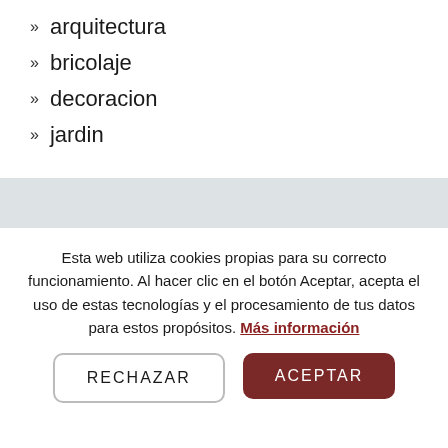» arquitectura
» bricolaje
» decoracion
» jardin
Entradas recientes
Esta web utiliza cookies propias para su correcto funcionamiento. Al hacer clic en el botón Aceptar, acepta el uso de estas tecnologías y el procesamiento de tus datos para estos propósitos. Más información
RECHAZAR
ACEPTAR